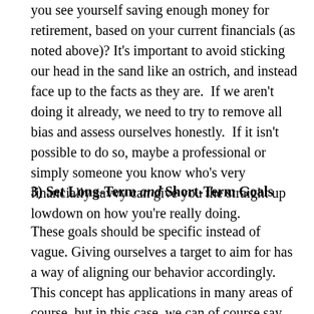you see yourself saving enough money for retirement, based on your current financials (as noted above)? It's important to avoid sticking our head in the sand like an ostrich, and instead face up to the facts as they are.  If we aren't doing it already, we need to try to remove all bias and assess ourselves honestly.  If it isn't possible to do so, maybe a professional or simply someone you know who's very financially savvy can give you the straight up lowdown on how you're really doing.
3) Set Long-Term and Short-Term Goals
These goals should be specific instead of vague. Giving ourselves a target to aim for has a way of aligning our behavior accordingly.  This concept has applications in many areas of course, but in this case, we can of course say that it's quite relevant in